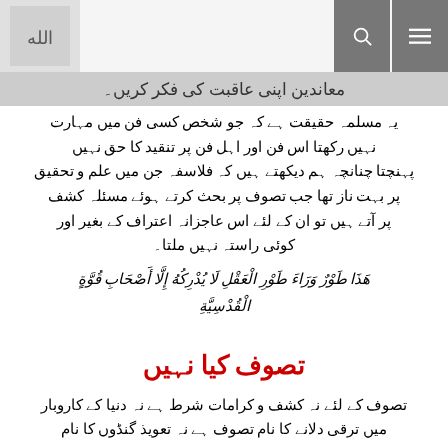Logo and navigation bar with search and menu icons
معاندین اپنی عاقبت کی فکر کریں۔
یہ مسلمہ حقیقت ہے کہ جو شخص کسی فن میں مہارت نہیں رکھتا اس فن اور اہل فن پر تنقید کا حق نہیں پہنچتا چنانچہ ہم دیکھتے ہیں کہ فلاسفہ جن میں علم و تحقیق پر بہت ناز تھا جب تصوف پر بحث کرتے ہوئے مسئلہ کشف پر آتے ہیں تو ان کے لئے اس عاجزانہ اعتراف کے بغیر اور کوئی راستہ نہیں ملتا۔
هَذَا طَوْرٌ وَرَاءَ طَوْرِ الْعَقْلِ لَا يُدْرِكُهُ إِلَّا أَصْحَابِ قُوَّةٍ الْقُدْسِيَّةِ
تصوف کیا نہیں
تصوف کے لئے نہ کشف و کرامات شرط ہے نہ دنیا کے کاروبار میں ترقی دلانے کا نام تصوف ہے نہ تعویذ گنڈوں کا نام